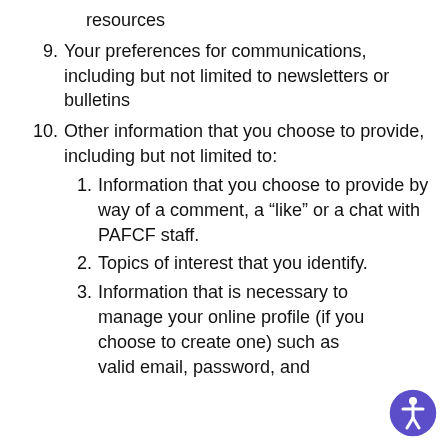resources
9. Your preferences for communications, including but not limited to newsletters or bulletins
10. Other information that you choose to provide, including but not limited to:
1. Information that you choose to provide by way of a comment, a “like” or a chat with PAFCF staff.
2. Topics of interest that you identify.
3. Information that is necessary to manage your online profile (if you choose to create one) such as valid email, password, and